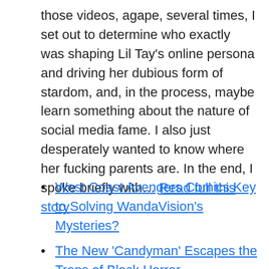those videos, agape, several times, I set out to determine who exactly was shaping Lil Tay's online persona and driving her dubious form of stardom, and, in the process, maybe learn something about the nature of social media fame. I also just desperately wanted to know where her fucking parents are. In the end, I spoke briefly with… Read full this story
West Coast Avengers Comics Key to Solving WandaVision's Mysteries?
The New 'Candyman' Escapes the Traps of Black Horror
Transformers: The Last Knight: The Spoiler FAQ